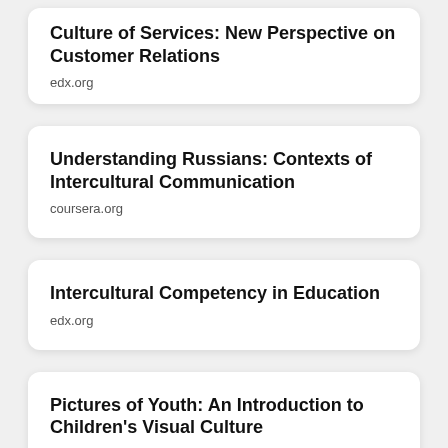Culture of Services: New Perspective on Customer Relations
edx.org
Understanding Russians: Contexts of Intercultural Communication
coursera.org
Intercultural Competency in Education
edx.org
Pictures of Youth: An Introduction to Children's Visual Culture
futurelearn.com